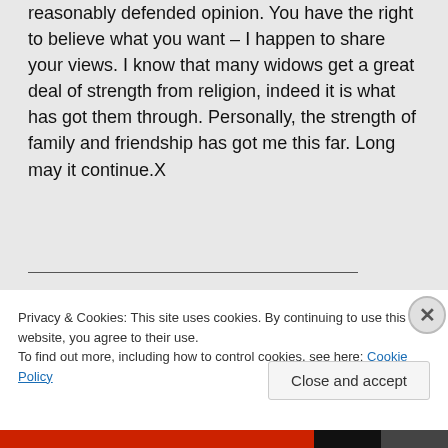reasonably defended opinion. You have the right to believe what you want – I happen to share your views. I know that many widows get a great deal of strength from religion, indeed it is what has got them through. Personally, the strength of family and friendship has got me this far. Long may it continue.X
Privacy & Cookies: This site uses cookies. By continuing to use this website, you agree to their use. To find out more, including how to control cookies, see here: Cookie Policy
Close and accept